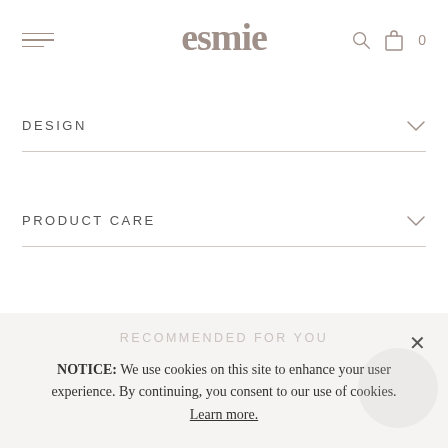esmie — navigation header with hamburger menu, logo, search icon, bag icon, cart count 0
DESIGN
PRODUCT CARE
RECOMMENDED FOR YOU
NOTICE: We use cookies on this site to enhance your user experience. By continuing, you consent to our use of cookies. Learn more.